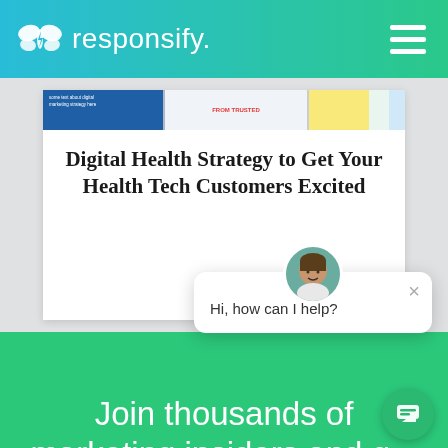responsify.
[Figure (screenshot): Screenshot of a webpage card with a blue image strip at top containing small text, and a white card area below]
Digital Health Strategy to Get Your Health Tech Customers Excited
[Figure (photo): Chat popup widget with a profile photo of a man, a close button, and the message 'Hi, how can I help?']
Hi, how can I help?
Join thousands of marketing insiders and g... our latest articles, tips, and